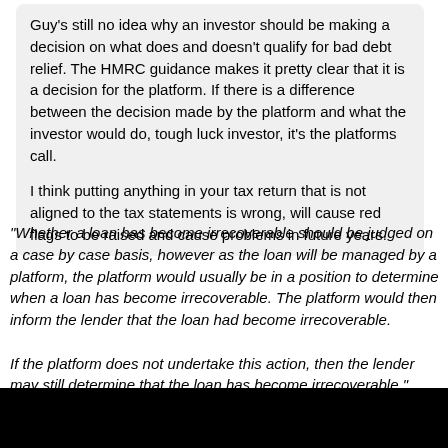Guy's still no idea why an investor should be making a decision on what does and doesn't qualify for bad debt relief.  The HMRC guidance makes it pretty clear that it is a decision for the platform.  If there is a difference between the decision made by the platform and what the investor would do, tough luck investor, it's the platforms call.

I think putting anything in your tax return that is not aligned to the tax statements is wrong, will cause red flags to be raised and cause problems in future years.
"Whether a loan has become irrecoverable should be judged on a case by case basis, however as the loan will be managed by a platform, the platform would usually be in a position to determine when a loan has become irrecoverable. The platform would then inform the lender that the loan had become irrecoverable.

If the platform does not undertake this action, then the lender may still determine that the loan has become irrecoverable."
If you read the actual law you'll find that the tax payer isn't required to use the numbers from the platform.
Platforms will usually be in the best position to determine this but they may not do it and some of us are invested in platforms that are not within